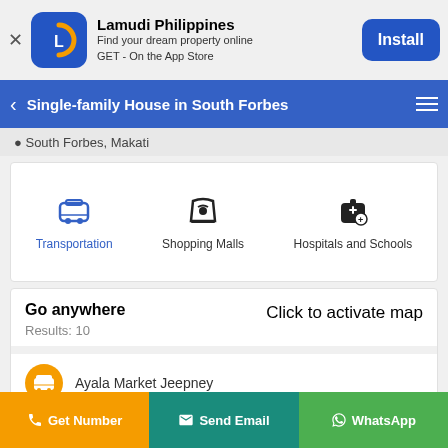[Figure (screenshot): Lamudi Philippines app install banner with app icon, name, tagline, and Install button]
Single-family House in South Forbes
South Forbes, Makati
[Figure (screenshot): Tabs: Transportation (active, blue), Shopping Malls, Hospitals and Schools]
Go anywhere
Results: 10
Click to activate map
Ayala Market Jeepney
[Figure (screenshot): Bottom action buttons: Get Number (orange), Send Email (teal), WhatsApp (green)]